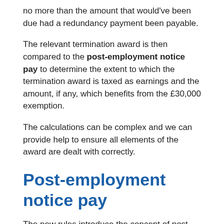no more than the amount that would've been due had a redundancy payment been payable.
The relevant termination award is then compared to the post-employment notice pay to determine the extent to which the termination award is taxed as earnings and the amount, if any, which benefits from the £30,000 exemption.
The calculations can be complex and we can provide help to ensure all elements of the award are dealt with correctly.
Post-employment notice pay
The new rules introduce the concept of post-employment notice pay.